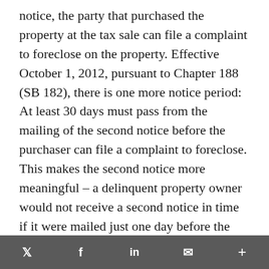notice, the party that purchased the property at the tax sale can file a complaint to foreclose on the property. Effective October 1, 2012, pursuant to Chapter 188 (SB 182), there is one more notice period: At least 30 days must pass from the mailing of the second notice before the purchaser can file a complaint to foreclose. This makes the second notice more meaningful – a delinquent property owner would not receive a second notice in time if it were mailed just one day before the foreclosure filing. It also makes an
Twitter | Facebook | LinkedIn | Email | More